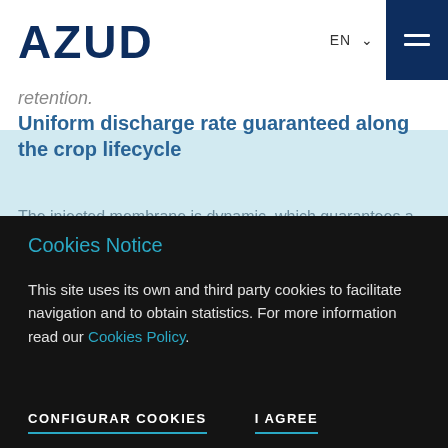AZUD | EN
retention.
Uniform discharge rate guaranteed along the crop lifecycle
The injected membrane is dynamic, which guarantees a precision, reliable and durable pressure-compensated operation and an efficient self-cleaning of the labyrinth.
Maximum strength against clogging
Cookies Notice
This site uses its own and third party cookies to facilitate navigation and to obtain statistics. For more information read our Cookies Policy.
CONFIGURAR COOKIES
I AGREE